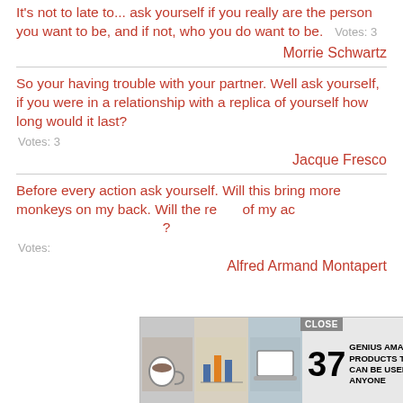It's not to late to... ask yourself if you really are the person you want to be, and if not, who you do want to be.   Votes: 3
Morrie Schwartz
So your having trouble with your partner. Well ask yourself, if you were in a relationship with a replica of yourself how long would it last?
Votes: 3
Jacque Fresco
Before every action ask yourself. Will this bring more monkeys on my back. Will the result of my action bring more freedom to my life?
Votes:
Alfred Armand Montapert
[Figure (other): Advertisement overlay showing '37 Genius Amazon Products That Can Be Used By Anyone' with a CLOSE button and 22 Words logo, partially covering the third quote block.]